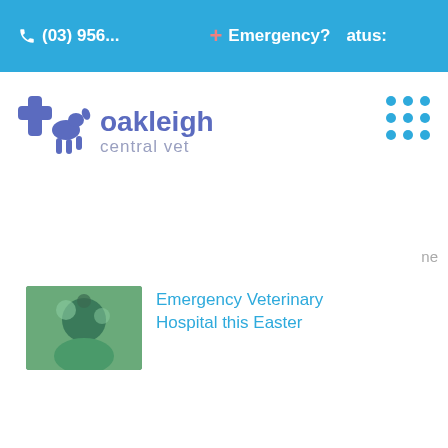(03) 956...  + Emergency?  atus:
[Figure (logo): Oakleigh Central Vet logo with blue cross and dog silhouette, text 'oakleigh central vet']
[Figure (other): Grid of 9 dots menu icon]
ne
[Figure (photo): Thumbnail photo related to Easter veterinary article]
Emergency Veterinary Hospital this Easter
[Figure (photo): Thumbnail photo of dental examination of a pet]
Dental Disease is Likely Affecting Your Pet
[Figure (other): Back to top arrow button, grey square with upward chevron]
Oakleigh Central Veterinary Clinic's COVID-19 Protocols - Hospital Status:
Phone  Email  Appointment